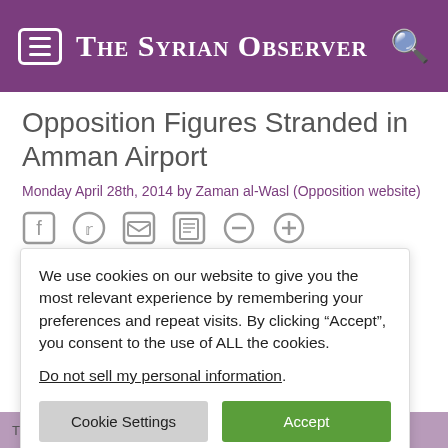The Syrian Observer
Opposition Figures Stranded in Amman Airport
Monday April 28th, 2014 by Zaman al-Wasl (Opposition website)
[Figure (infographic): Social sharing and utility icons: Facebook, Twitter, Email, Print, Zoom out, Zoom in]
...ently to face
We use cookies on our website to give you the most relevant experience by remembering your preferences and repeat visits. By clicking “Accept”, you consent to the use of ALL the cookies.
Do not sell my personal information.
...s on Saturday opposition figure nter the kingdom anbul, source told
The Syrian National Coalition member, Jawad Abu Hatab, who